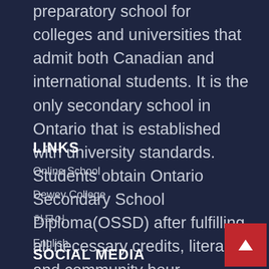preparatory school for colleges and universities that admit both Canadian and international students. It is the only secondary school in Ontario that is established with university standards. Students obtain Ontario Secondary School Diploma(OSSD) after fulfilling all necessary credits, literacy and community hour requirements.
LINKS
Online School
Dewey College
한국어
English
SOCIAL MEDIA